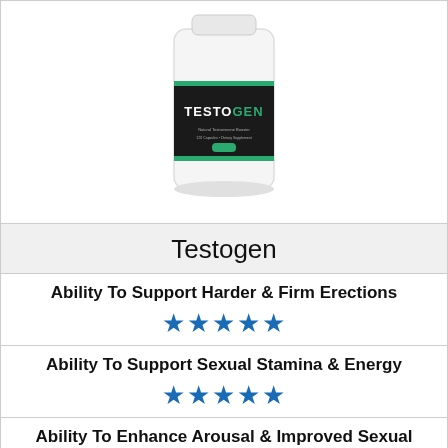[Figure (photo): Testogen supplement bottle with black and green label]
Testogen
Ability To Support Harder & Firm Erections ★★★★★
Ability To Support Sexual Stamina & Energy ★★★★★
Ability To Enhance Arousal & Improved Sexual Desire ★★★★☆
Overall Quality Of Ingredients